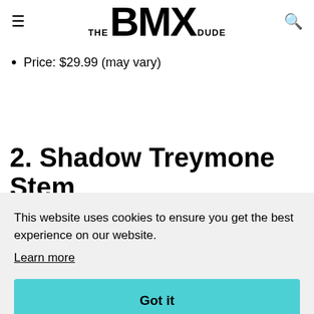THE BMX DUDE
Price: $29.99 (may vary)
GET YOURS
2. Shadow Treymone Stem
This website uses cookies to ensure you get the best experience on our website.
Learn more
Got it